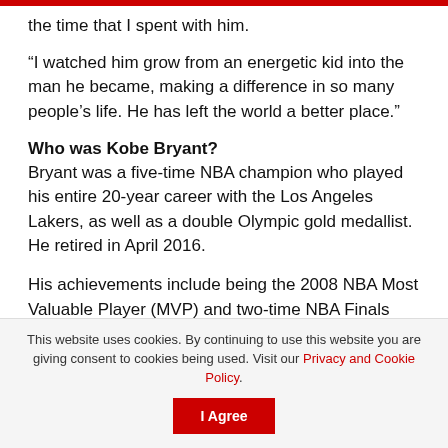the time that I spent with him.
“I watched him grow from an energetic kid into the man he became, making a difference in so many people’s life. He has left the world a better place.”
Who was Kobe Bryant?
Bryant was a five-time NBA champion who played his entire 20-year career with the Los Angeles Lakers, as well as a double Olympic gold medallist. He retired in April 2016.
His achievements include being the 2008 NBA Most Valuable Player (MVP) and two-time NBA Finals MVP, and was also NBA scoring champion twice.
This website uses cookies. By continuing to use this website you are giving consent to cookies being used. Visit our Privacy and Cookie Policy.